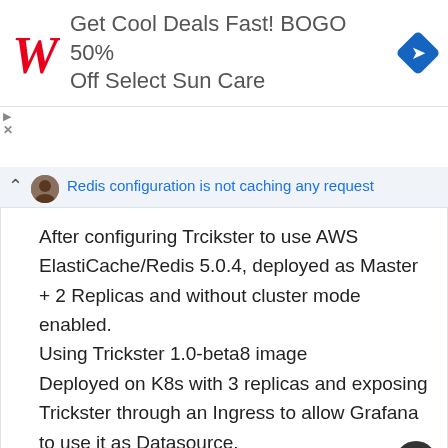[Figure (screenshot): Walgreens advertisement banner: red cursive W logo, text 'Get Cool Deals Fast! BOGO 50% Off Select Sun Care', blue diamond navigation icon on right]
Redis configuration is not caching any request
After configuring Trcikster to use AWS ElastiCache/Redis 5.0.4, deployed as Master + 2 Replicas and without cluster mode enabled.
Using Trickster 1.0-beta8 image
Deployed on K8s with 3 replicas and exposing Trickster through an Ingress to allow Grafana to use it as Datasource.
Every time Grafana runs a